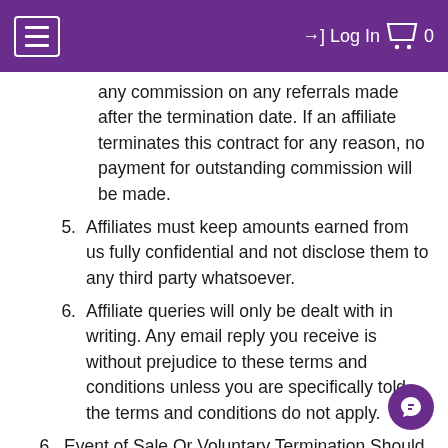≡  →] Log In  🛒 0
any commission on any referrals made after the termination date. If an affiliate terminates this contract for any reason, no payment for outstanding commission will be made.
5. Affiliates must keep amounts earned from us fully confidential and not disclose them to any third party whatsoever.
6. Affiliate queries will only be dealt with in writing. Any email reply you receive is without prejudice to these terms and conditions unless you are specifically told the terms and conditions do not apply.
6. Event of Sale Or Voluntary Termination Should The CV Centre ZA decide to sell and/or transfer its website(s) to a third party, or terminate the service for any reason